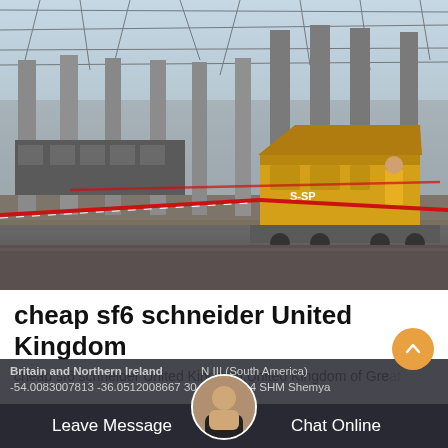[Figure (photo): Industrial electrical substation with large gray columns, overhead wires, a bright yellow generator/equipment unit on a flatbed truck, and red safety barrier tape in the foreground.]
cheap sf6 schneider United Kingdom
cheap sf6 schneider United Kingdom,United Kingdom of Great Britain and Northern Ireland …N III (South America) -54.0083007813 -36.0512008667 30 CO 2 CH 4 SHM Shemya